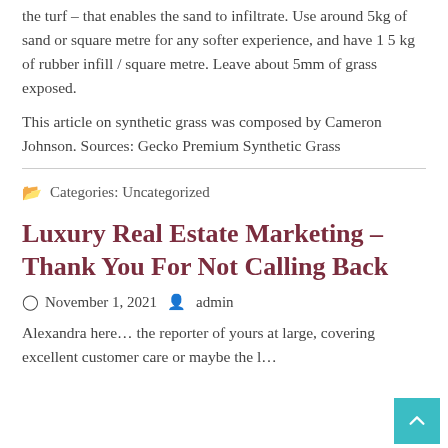the turf – that enables the sand to infiltrate. Use around 5kg of sand or square metre for any softer experience, and have 1 5 kg of rubber infill / square metre. Leave about 5mm of grass exposed.
This article on synthetic grass was composed by Cameron Johnson. Sources: Gecko Premium Synthetic Grass
Categories: Uncategorized
Luxury Real Estate Marketing – Thank You For Not Calling Back
November 1, 2021  admin
Alexandra here… the reporter of yours at large, covering excellent customer care or maybe the l...